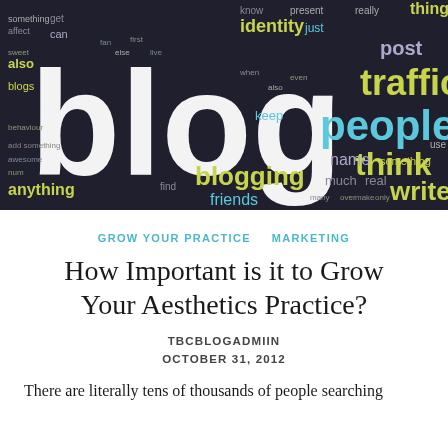[Figure (illustration): Word cloud on dark background featuring the word 'blog' in large white letters, surrounded by related words like 'people', 'traffic', 'think', 'blogging', 'identity', 'post', 'name', 'write', 'friends', 'anything', 'also', 'blogs', 'can', 'get', 'affect', 'keep', 'real', 'something', 'much', 'use' in various colors including white, yellow-green, blue, and grey on a dark charcoal background.]
GROW YOUR PRACTICE   MARKETING
How Important is it to Grow Your Aesthetics Practice?
TBCBLOGADMIIN
OCTOBER 31, 2012
There are literally tens of thousands of people searching